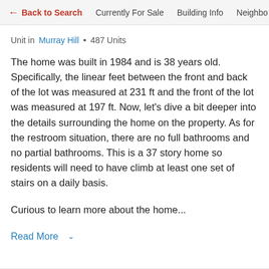← Back to Search  Currently For Sale  Building Info  Neighbo
Unit in Murray Hill · 487 Units
The home was built in 1984 and is 38 years old. Specifically, the linear feet between the front and back of the lot was measured at 231 ft and the front of the lot was measured at 197 ft. Now, let's dive a bit deeper into the details surrounding the home on the property. As for the restroom situation, there are no full bathrooms and no partial bathrooms. This is a 37 story home so residents will need to have climb at least one set of stairs on a daily basis.
Curious to learn more about the home...
Read More ∨